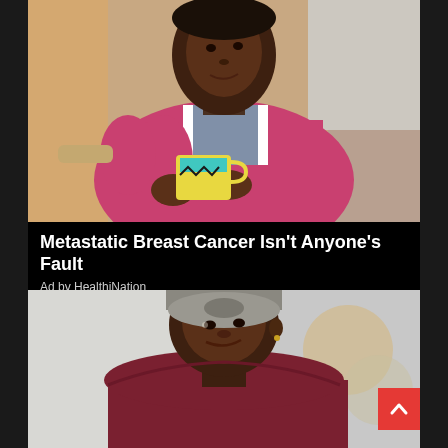[Figure (photo): Woman in pink sweater sitting in a chair holding a decorated mug, looking off to the side thoughtfully]
Metastatic Breast Cancer Isn't Anyone's Fault
Ad by HealthiNation
[Figure (photo): Woman wearing a grey head wrap and dark maroon top, looking sideways with a calm expression, blurred background]